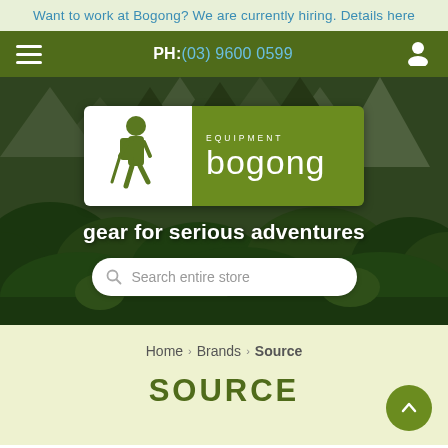Want to work at Bogong? We are currently hiring. Details here
PH: (03) 9600 0599
[Figure (screenshot): Bogong Equipment website hero section with mountain and jungle background, Bogong logo, tagline 'gear for serious adventures', and search bar]
gear for serious adventures
Search entire store
Home > Brands > Source
SOURCE